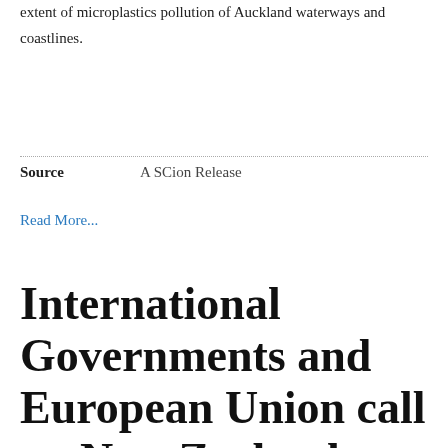extent of microplastics pollution of Auckland waterways and coastlines.
Source    A SCion Release
Read More...
International Governments and European Union call on New Zealand to protect